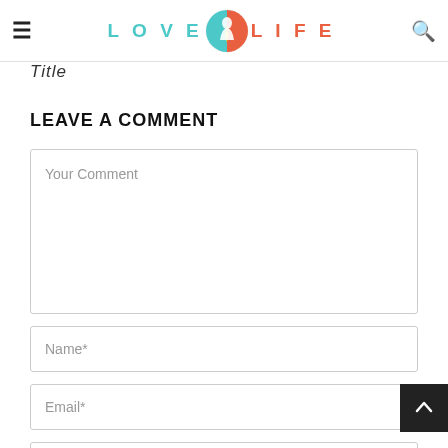LOVE [logo] LIFE
Title (partial, cropped)
LEAVE A COMMENT
Your Comment (textarea placeholder)
Name*
Email*
Website (partial)